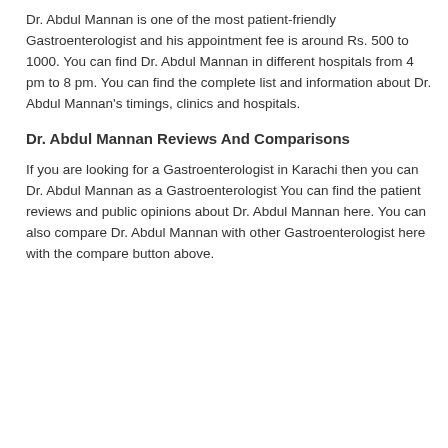Dr. Abdul Mannan is one of the most patient-friendly Gastroenterologist and his appointment fee is around Rs. 500 to 1000. You can find Dr. Abdul Mannan in different hospitals from 4 pm to 8 pm. You can find the complete list and information about Dr. Abdul Mannan's timings, clinics and hospitals.
Dr. Abdul Mannan Reviews And Comparisons
If you are looking for a Gastroenterologist in Karachi then you can Dr. Abdul Mannan as a Gastroenterologist You can find the patient reviews and public opinions about Dr. Abdul Mannan here. You can also compare Dr. Abdul Mannan with other Gastroenterologist here with the compare button above.